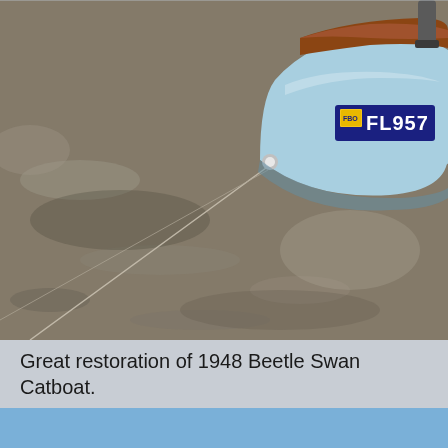[Figure (photo): Photograph of a restored 1948 Beetle Swan Catboat on a sandy/muddy beach. The boat has a light blue hull with a wooden deck trim in reddish-brown. A Florida registration number 'FL957' is visible on the hull in white text on a blue background. A metal mast fitting is visible at the top. A wire/rope extends from the bow toward the lower left of the frame. The ground shows wet sand or mud with shallow water reflections.]
Great restoration of 1948 Beetle Swan Catboat.